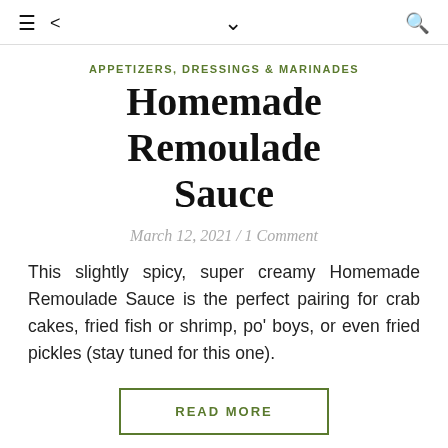≡  <  ˅  🔍
APPETIZERS, DRESSINGS & MARINADES
Homemade Remoulade Sauce
March 12, 2021 / 1 Comment
This slightly spicy, super creamy Homemade Remoulade Sauce is the perfect pairing for crab cakes, fried fish or shrimp, po' boys, or even fried pickles (stay tuned for this one).
READ MORE